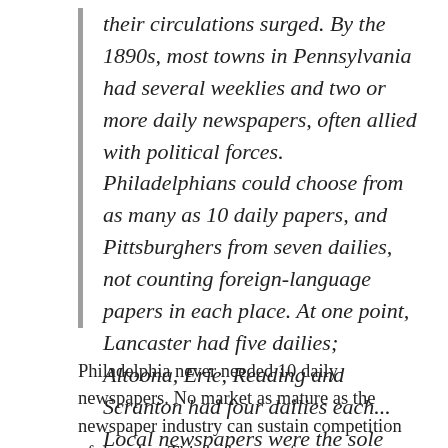their circulations surged. By the 1890s, most towns in Pennsylvania had several weeklies and two or more daily newspapers, often allied with political forces. Philadelphians could choose from as many as 10 daily papers, and Pittsburghers from seven dailies, not counting foreign-language papers in each place. At one point, Lancaster had five dailies; Altoona, Erie, Reading and Scranton had four dailies each... Local newspapers were the sole means of mass communication.
Philadelphia never needed 10 daily newspapers. No market as mature as the newspaper industry can sustain competition of that size. This is the age of